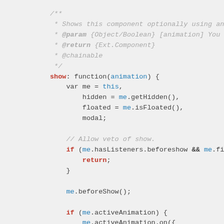/**
 * Shows this component optionally using an animati
 * @param {Object/Boolean} [animation] You can spec
 * @return {Ext.Component}
 * @chainable
 */
show: function(animation) {
    var me = this,
        hidden = me.getHidden(),
        floated = me.isFloated(),
        modal;

    // Allow veto of show.
    if (me.hasListeners.beforeshow && me.fireEvent(
        return;
    }

    me.beforeShow();

    if (me.activeAnimation) {
        me.activeAnimation.on({
            animationend: function(){
                me.show(animation);
            },